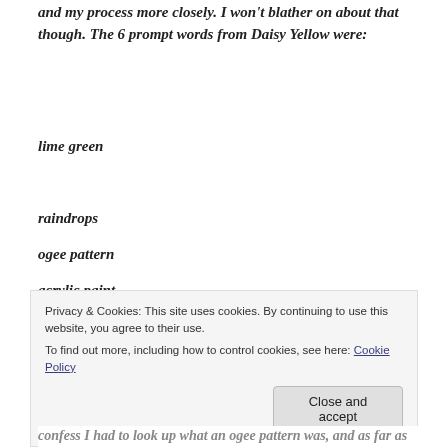and my process more closely. I won't blather on about that though. The 6 prompt words from Daisy Yellow were:
lime green
raindrops
ogee pattern
treasure hunt
acrylic paint
grunge
Privacy & Cookies: This site uses cookies. By continuing to use this website, you agree to their use.
To find out more, including how to control cookies, see here: Cookie Policy
[Close and accept]
confess I had to look up what an ogee pattern was, and as far as